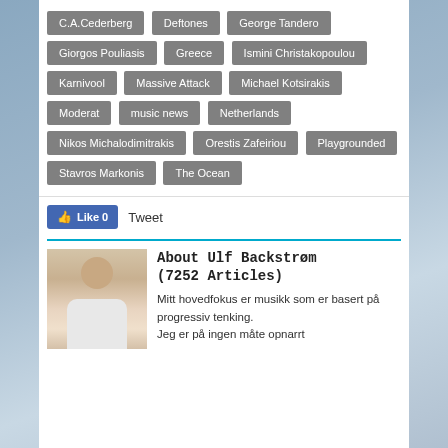C.A.Cederberg
Deftones
George Tandero
Giorgos Pouliasis
Greece
Ismini Christakopoulou
Karnivool
Massive Attack
Michael Kotsirakis
Moderat
music news
Netherlands
Nikos Michalodimitrakis
Orestis Zafeiriou
Playgrounded
Stavros Markonis
The Ocean
Like 0   Tweet
About Ulf Backstrøm (7252 Articles)
Mitt hovedfokus er musikk som er basert på progressiv tenking.